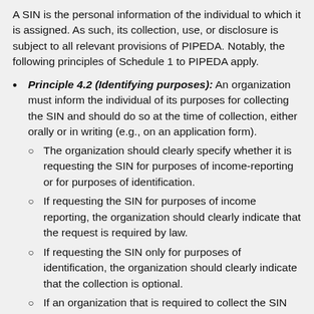A SIN is the personal information of the individual to which it is assigned. As such, its collection, use, or disclosure is subject to all relevant provisions of PIPEDA. Notably, the following principles of Schedule 1 to PIPEDA apply.
Principle 4.2 (Identifying purposes): An organization must inform the individual of its purposes for collecting the SIN and should do so at the time of collection, either orally or in writing (e.g., on an application form).
The organization should clearly specify whether it is requesting the SIN for purposes of income-reporting or for purposes of identification.
If requesting the SIN for purposes of income reporting, the organization should clearly indicate that the request is required by law.
If requesting the SIN only for purposes of identification, the organization should clearly indicate that the collection is optional.
If an organization that is required to collect the SIN for income-reporting purposes also intends to...